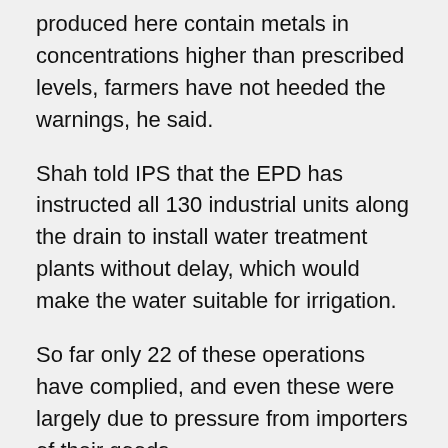produced here contain metals in concentrations higher than prescribed levels, farmers have not heeded the warnings, he said.
Shah told IPS that the EPD has instructed all 130 industrial units along the drain to install water treatment plants without delay, which would make the water suitable for irrigation.
So far only 22 of these operations have complied, and even these were largely due to pressure from importers of their goods.
“The problem is that most (owners of industrial units) cannot afford to install these plants individually,” said Shah.
Still, he says, the burden of cleaning the environment lies